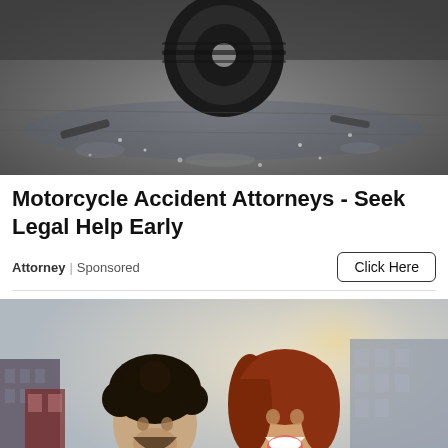[Figure (photo): Motorcycle accident scene on wet pavement, tire visible in center, debris scattered, dark asphalt background]
Motorcycle Accident Attorneys - Seek Legal Help Early
Attorney | Sponsored
[Figure (photo): Smiling couple outdoors in an urban setting, man with curly dark hair and beard, woman with red hair, buildings in background]